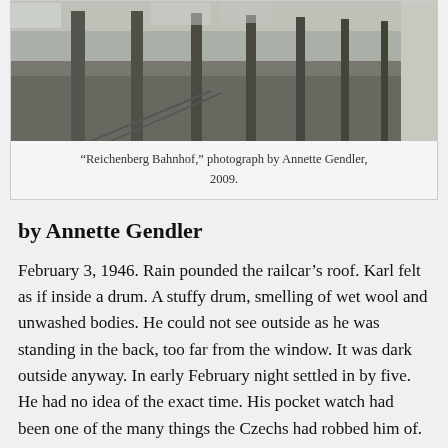[Figure (photo): Photograph of Reichenberg Bahnhof train station platform with columns and railway tracks, taken in 2009 by Annette Gendler.]
“Reichenberg Bahnhof,” photograph by Annette Gendler, 2009.
by Annette Gendler
February 3, 1946. Rain pounded the railcar’s roof. Karl felt as if inside a drum. A stuffy drum, smelling of wet wool and unwashed bodies. He could not see outside as he was standing in the back, too far from the window. It was dark outside anyway. In early February night settled in by five. He had no idea of the exact time. His pocket watch had been one of the many things the Czechs had robbed him of.